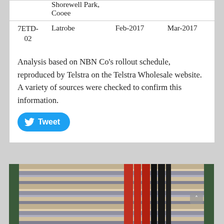|  | Location | Start | End |
| --- | --- | --- | --- |
|  | Shorewell Park,
Cooee |  |  |
| 7ETD-02 | Latrobe | Feb-2017 | Mar-2017 |
Analysis based on NBN Co's rollout schedule, reproduced by Telstra on the Telstra Wholesale website. A variety of sources were checked to confirm this information.
[Figure (photo): Photo of telecommunications equipment cabinet interior showing stacked hardware units, circuit boards, and red and black cables]